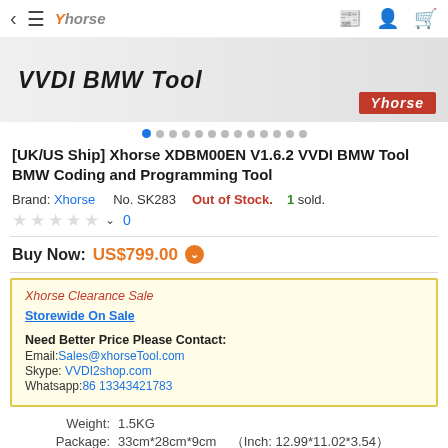[Figure (screenshot): Xhorse website navbar with back arrow, hamburger menu, Xhorse logo, WhatsApp, account and cart icons]
[Figure (photo): Product banner showing VVDI BMW Tool text on grey gradient background with Xhorse red brand logo at right]
Dot navigation indicator row with 13 dots, first dot active (blue)
[UK/US Ship] Xhorse XDBM00EN V1.6.2 VVDI BMW Tool BMW Coding and Programming Tool
Brand: Xhorse   No. SK283   Out of Stock.   1 sold.
★☆☆☆☆ ∨  0
Buy Now: US$799.00 ⌄
Xhorse Clearance Sale
Storewide On Sale

Need Better Price Please Contact:
Email:Sales@xhorseTool.com
Skype: VVDI2shop.com
Whatsapp:86 13343421783
Weight:   1.5KG
Package:  33cm*28cm*9cm    ( Inch: 12.99*11.02*3.54 )
Returns:  Return for refund within 30 days,buyer pays